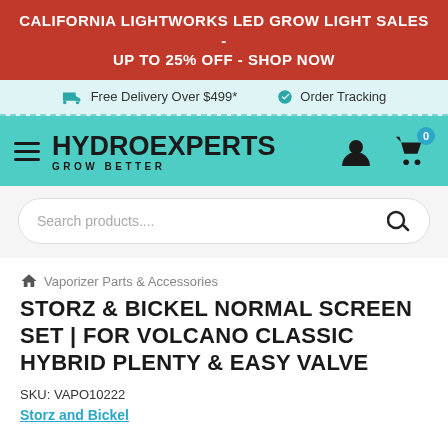CALIFORNIA LIGHTWORKS LED GROW LIGHT SALES - UP TO 25% OFF - SHOP NOW
Free Delivery Over $499*   Order Tracking
[Figure (logo): HydroExperts Grow Better logo with hamburger menu, person icon, and cart icon showing 0 items]
Search products....
🏠 Vaporizer Parts & Accessories
STORZ & BICKEL NORMAL SCREEN SET | FOR VOLCANO CLASSIC HYBRID PLENTY & EASY VALVE
SKU: VAPO10222
Storz and Bickel